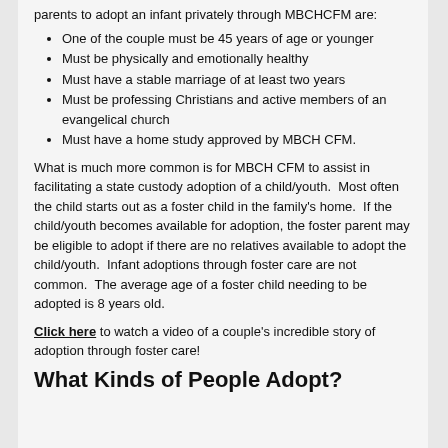parents to adopt an infant privately through MBCHCFM are:
One of the couple must be 45 years of age or younger
Must be physically and emotionally healthy
Must have a stable marriage of at least two years
Must be professing Christians and active members of an evangelical church
Must have a home study approved by MBCH CFM.
What is much more common is for MBCH CFM to assist in facilitating a state custody adoption of a child/youth.  Most often the child starts out as a foster child in the family's home.  If the child/youth becomes available for adoption, the foster parent may be eligible to adopt if there are no relatives available to adopt the child/youth.  Infant adoptions through foster care are not common.  The average age of a foster child needing to be adopted is 8 years old.
Click here to watch a video of a couple's incredible story of adoption through foster care!
What Kinds of People Adopt?